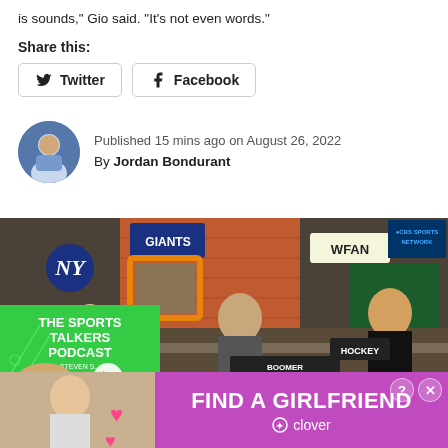is sounds," Gio said. "It's not even words."
Share this:
Twitter
Facebook
Published 15 mins ago on August 26, 2022
By Jordan Bondurant
[Figure (photo): CBS Sports Network Boomer and Gio radio studio with hosts at desks, WFAN branding, Boomer and Gio sign, and podcast video overlay showing 'The Sports Talkers Podcast' with a play button over a man smiling]
[Figure (photo): Advertisement banner: 'FIND A GIRLFRIEND' from Clover app, purple background, with image of woman on left]